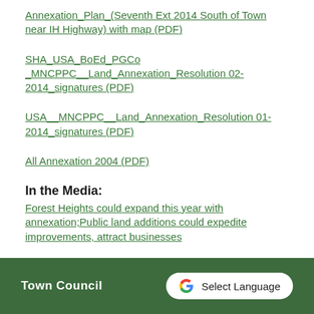Annexation_Plan_(Seventh Ext 2014 South of Town near IH Highway) with map (PDF)
SHA_USA_BoEd_PGCo_MNCPPC__Land_Annexation_Resolution 02-2014_signatures (PDF)
USA__MNCPPC__Land_Annexation_Resolution 01-2014_signatures (PDF)
All Annexation 2004 (PDF)
In the Media:
Forest Heights could expand this year with annexation;Public land additions could expedite improvements, attract businesses
Town Council | Select Language